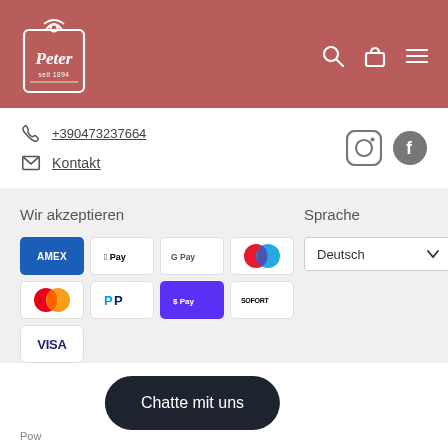[Figure (logo): Peter seit 1894 logo - white outlined gift tag style on dark rose/mauve background header with search, bag, and menu icons]
+390473237664
Kontakt
[Figure (logo): Instagram and Facebook social media icons in gray]
Wir akzeptieren
[Figure (infographic): Payment method logos: AMEX, Apple Pay, Google Pay, Maestro, Mastercard, PayPal, Shop Pay, SOFORT, VISA]
Sprache
Deutsch
Chatte mit uns
Pow